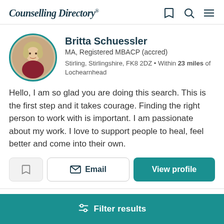Counselling Directory
Britta Schuessler
MA, Registered MBACP (accred)
Stirling, Stirlingshire, FK8 2DZ • Within 23 miles of Lochearnhead
Hello, I am so glad you are doing this search. This is the first step and it takes courage. Finding the right person to work with is important. I am passionate about my work. I love to support people to heal, feel better and come into their own.
Email
View profile
Filter results